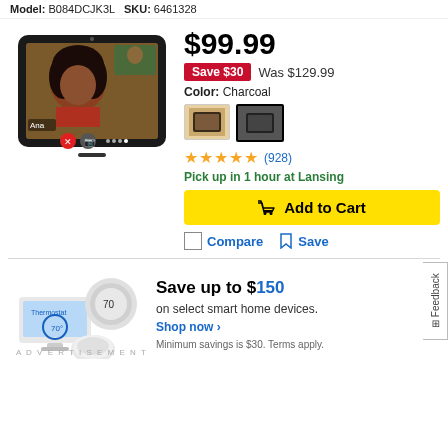Model: B084DCJK3L   SKU: 6461328
[Figure (photo): Amazon Echo Show 8 smart display showing a video call with a woman named Ana on screen]
$99.99
Save $30  Was $129.99
Color: Charcoal
[Figure (photo): Two color swatch options for the product — sandstone/warm color and charcoal/dark color, charcoal selected]
★★★★★ (928)
Pick up in 1 hour at Lansing
Add to Cart
Compare   Save
[Figure (photo): Google Nest smart home devices — thermostat display and hub device]
Save up to $150 on select smart home devices. Shop now › Minimum savings is $30. Terms apply.